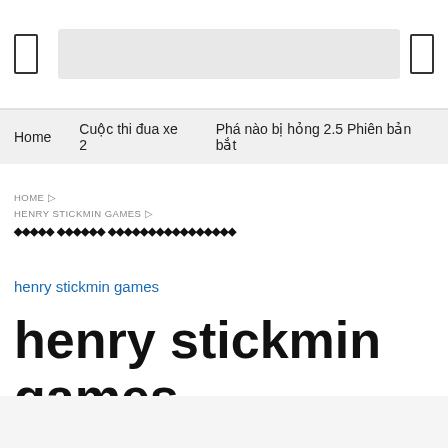[header bar with search box]
Home   Cuộc thi đua xe 2   Phá nào bị hỏng 2.5 Phiên bản bắt
HOME ▷
HENRY STICKMIN GAMES ▷
♦♦♦♦♦ ♦♦♦♦♦♦ ♦♦♦♦♦♦♦♦♦♦♦♦♦♦♦♦
henry stickmin games
henry stickmin games